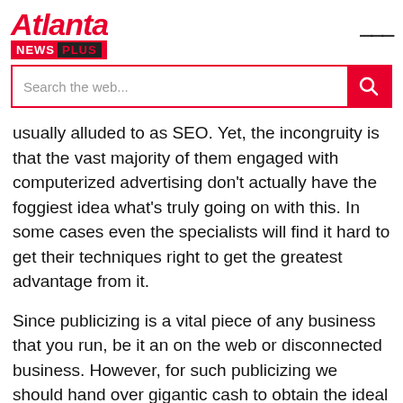Atlanta NEWS PLUS
usually alluded to as SEO. Yet, the incongruity is that the vast majority of them engaged with computerized advertising don't actually have the foggiest idea what's truly going on with this. In some cases even the specialists will find it hard to get their techniques right to get the greatest advantage from it.
Since publicizing is a vital piece of any business that you run, be it an on the web or disconnected business. However, for such publicizing we should hand over gigantic cash to obtain the ideal outcomes. Be that as it may, with web promoting in the event that you can do the site improvement well then you can get all your publicizing for your internet based business liberated from cost via